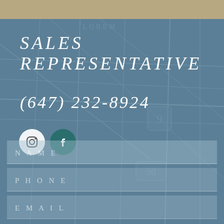[Figure (map): Street map overlay with muted blue-gray tones showing city streets, with route markers for 9 and 50 visible]
SALES REPRESENTATIVE
(647) 232-8924
[Figure (other): Instagram and Facebook social media icon circles]
NAME
PHONE
EMAIL